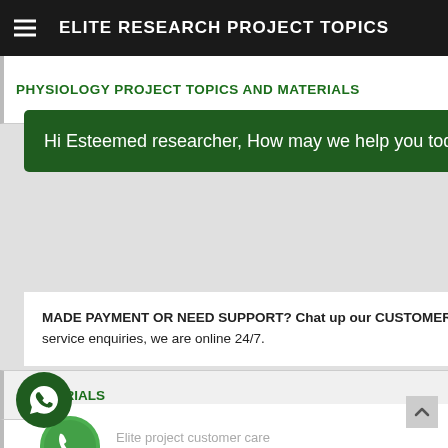ELITE RESEARCH PROJECT TOPICS
PHYSIOLOGY PROJECT TOPICS AND MATERIALS
Hi Esteemed researcher, How may we help you today?
MADE PAYMENT OR NEED SUPPORT? Chat up our CUSTOMER SUPPORT for payment confirmations, all service help and service enquiries, we are online 24/7.
Elite project customer care
Miracle
...MATERIALS
...HITECTURE PROJECT TOPICS AND MATERIALS